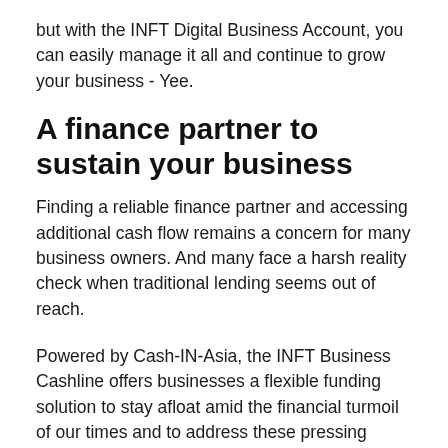but with the INFT Digital Business Account, you can easily manage it all and continue to grow your business - Yee.
A finance partner to sustain your business
Finding a reliable finance partner and accessing additional cash flow remains a concern for many business owners. And many face a harsh reality check when traditional lending seems out of reach.
Powered by Cash-IN-Asia, the INFT Business Cashline offers businesses a flexible funding solution to stay afloat amid the financial turmoil of our times and to address these pressing business